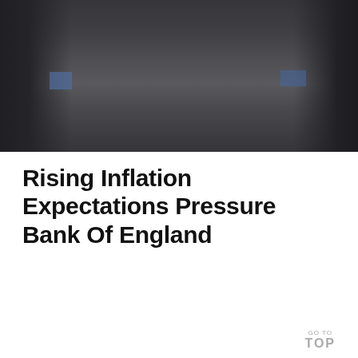[Figure (photo): Dark, moody photograph of pedestrians in silhouette walking in front of a grand classical building (likely the Bank of England), with a dark overlay tint giving it a grey-blue atmosphere.]
Rising Inflation Expectations Pressure Bank Of England
GO TO TOP